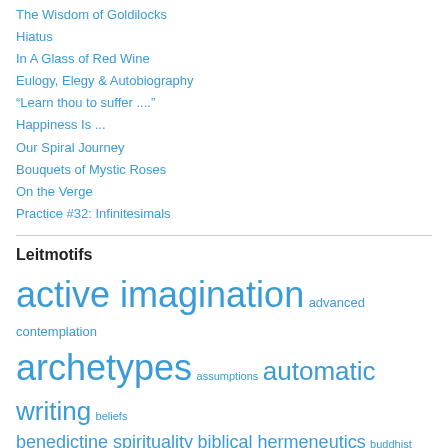The Wisdom of Goldilocks
Hiatus
In A Glass of Red Wine
Eulogy, Elegy & Autobiography
“Learn thou to suffer ....”
Happiness Is ...
Our Spiral Journey
Bouquets of Mystic Roses
On the Verge
Practice #32: Infinitesimals
Leitmotifs
active imagination  advanced contemplation  archetypes  assumptions  automatic writing  beliefs  benedictine spirituality  biblical hermeneutics  buddhist scripture  contemplation  contemplative prayer